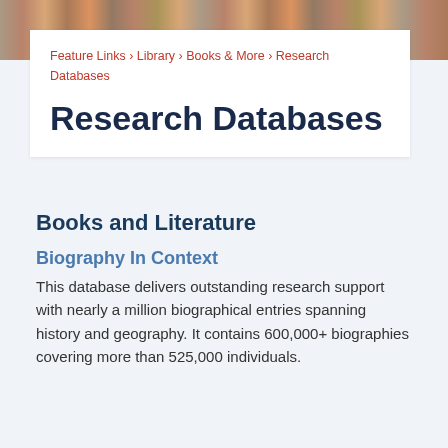Feature Links › Library › Books & More › Research Databases
Research Databases
Books and Literature
Biography In Context
This database delivers outstanding research support with nearly a million biographical entries spanning history and geography. It contains 600,000+ biographies covering more than 525,000 individuals.